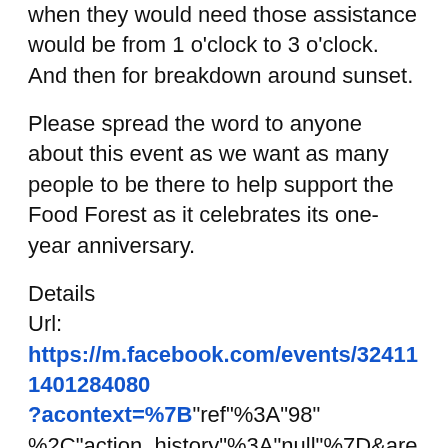when they would need those assistance would be from 1 o'clock to 3 o'clock. And then for breakdown around sunset.
Please spread the word to anyone about this event as we want as many people to be there to help support the Food Forest as it celebrates its one-year anniversary.
Details
Url:
https://m.facebook.com/events/324111401284080?acontext=%7B"ref"%3A"98" %2C"action_history"%3A"null"%7D&aref=98
The Festival Beach Food Forest is a volunteer-managed, 3/4-acre edible landscape on public park land. Our mission is to grow edible forest gardens on public lands to nourish, educate, and inspire. We are